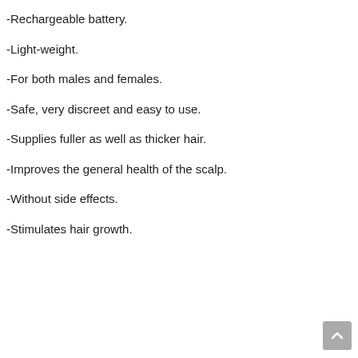-Rechargeable battery.
-Light-weight.
-For both males and females.
-Safe, very discreet and easy to use.
-Supplies fuller as well as thicker hair.
-Improves the general health of the scalp.
-Without side effects.
-Stimulates hair growth.